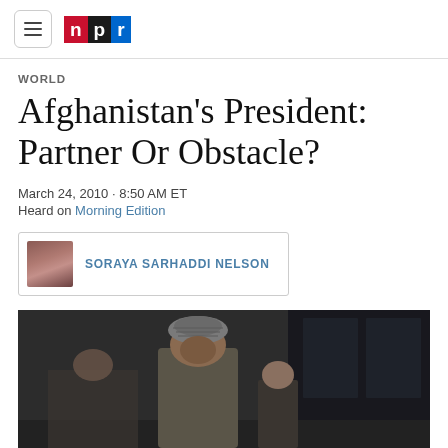NPR logo and navigation
WORLD
Afghanistan's President: Partner Or Obstacle?
March 24, 2010 · 8:50 AM ET
Heard on Morning Edition
SORAYA SARHADDI NELSON
[Figure (photo): Photo of a man in a traditional Afghan hat (pakol/karakul) outdoors, with a dark vehicle or building in the background. Another person partially visible to the right.]